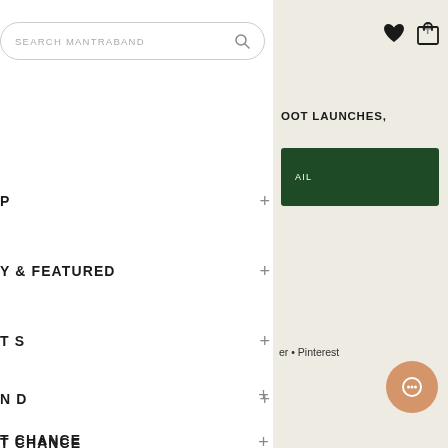[Figure (screenshot): Search bar with placeholder text SEARCH MANTRABAND and magnifying glass icon]
[Figure (other): Heart icon and shopping bag icon in top right]
P +
Y & FEATURED +
T S +
N D +
T CHANCE +
[Figure (screenshot): Right panel with beige background, plus icon, text OOT LAUNCHES,, dark green button with text AIL, social links er • Pinterest, and orange chat button]